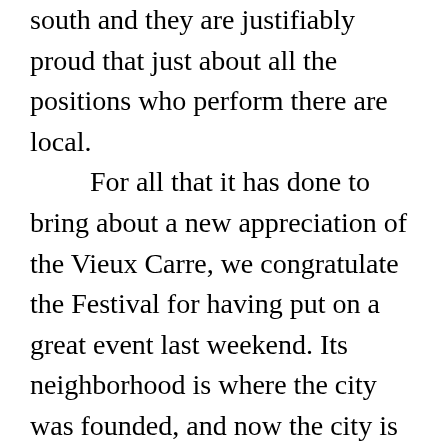south and they are justifiably proud that just about all the positions who perform there are local.
For all that it has done to bring about a new appreciation of the Vieux Carre, we congratulate the Festival for having put on a great event last weekend. Its neighborhood is where the city was founded, and now the city is rediscovering the neighborhood.
Let us know what you think. Any comments about this article? Write toelaborde@renaissancepublishingllc.com. For the subject line use FRENCH QUARTER FESTIVAL. All responses are subject to being